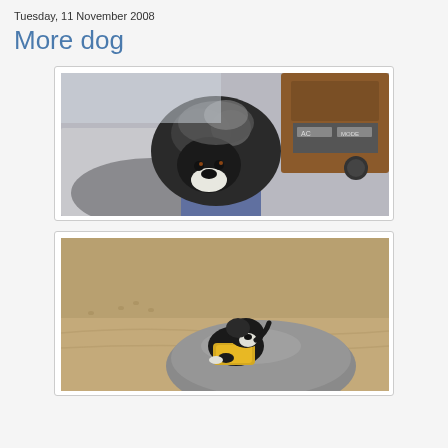Tuesday, 11 November 2008
More dog
[Figure (photo): A black and white Pekingese or similar flat-faced dog resting between a person's legs/lap inside a car, near the center console with AC controls visible. The dog has a fluffy dark coat with white muzzle markings.]
[Figure (photo): A small black and white dog wearing a yellow shirt/jacket, climbing on or hugging a large rounded gray rock on a sandy beach.]